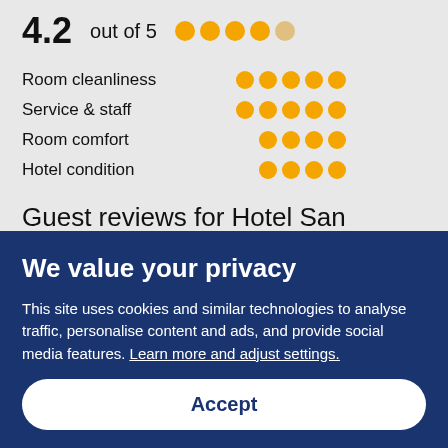4.2 out of 5
Room cleanliness
Service & staff
Room comfort
Hotel condition
Guest reviews for Hotel San Ranieri
Everyone (6)  Couples (4)  Family (5)  Friends (1)
We value your privacy
This site uses cookies and similar technologies to analyse traffic, personalise content and ads, and provide social media features. Learn more and adjust settings.
Accept